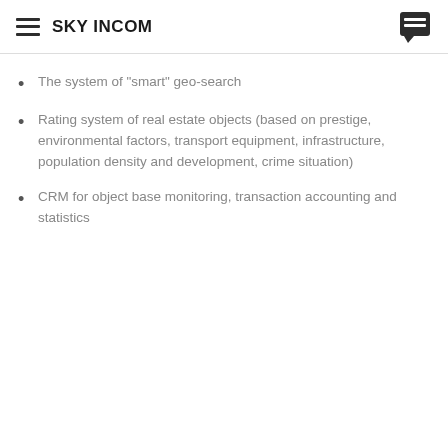SKY INCOM
The system of "smart" geo-search
Rating system of real estate objects (based on prestige, environmental factors, transport equipment, infrastructure, population density and development, crime situation)
CRM for object base monitoring, transaction accounting and statistics